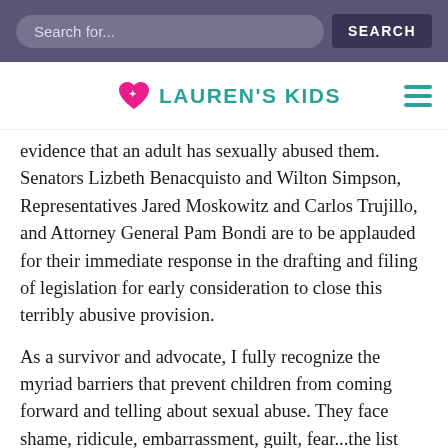Search for...  SEARCH
[Figure (logo): Lauren's Kids logo with pink heart and teal text, hamburger menu icon on right]
evidence that an adult has sexually abused them. Senators Lizbeth Benacquisto and Wilton Simpson, Representatives Jared Moskowitz and Carlos Trujillo, and Attorney General Pam Bondi are to be applauded for their immediate response in the drafting and filing of legislation for early consideration to close this terribly abusive provision.
As a survivor and advocate, I fully recognize the myriad barriers that prevent children from coming forward and telling about sexual abuse. They face shame, ridicule, embarrassment, guilt, fear...the list goes on and on. Worst of all, as we saw in McDade vs. State and hear far too often from survivors, it's easy